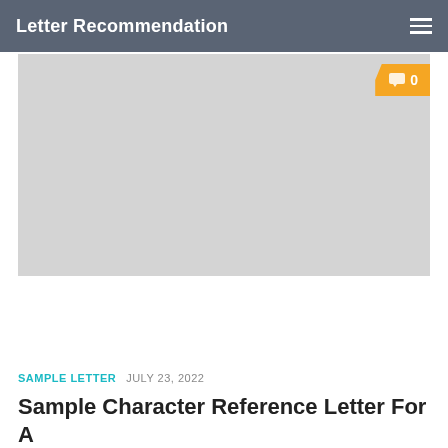Letter Recommendation
[Figure (photo): Large gray placeholder image for a blog post hero image, with a yellow speech bubble comment badge showing '0' in the top right corner]
SAMPLE LETTER  JULY 23, 2022
Sample Character Reference Letter For A